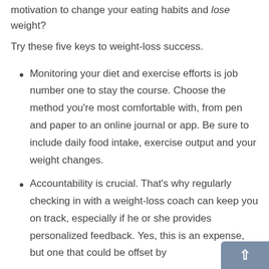motivation to change your eating habits and lose weight?
Try these five keys to weight-loss success.
Monitoring your diet and exercise efforts is job number one to stay the course. Choose the method you're most comfortable with, from pen and paper to an online journal or app. Be sure to include daily food intake, exercise output and your weight changes.
Accountability is crucial. That's why regularly checking in with a weight-loss coach can keep you on track, especially if he or she provides personalized feedback. Yes, this is an expense, but one that could be offset by